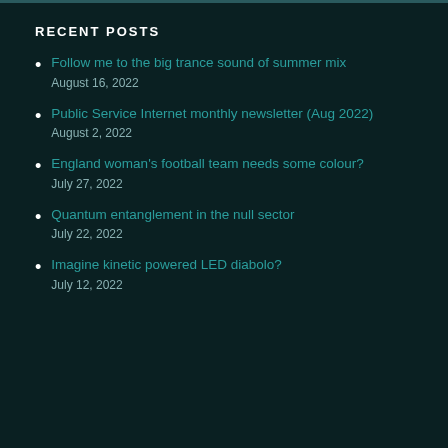RECENT POSTS
Follow me to the big trance sound of summer mix
August 16, 2022
Public Service Internet monthly newsletter (Aug 2022)
August 2, 2022
England woman's football team needs some colour?
July 27, 2022
Quantum entanglement in the null sector
July 22, 2022
Imagine kinetic powered LED diabolo?
July 12, 2022